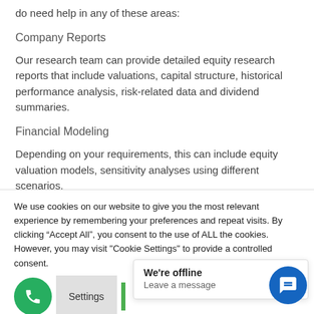do need help in any of these areas:
Company Reports
Our research team can provide detailed equity research reports that include valuations, capital structure, historical performance analysis, risk-related data and dividend summaries.
Financial Modeling
Depending on your requirements, this can include equity valuation models, sensitivity analyses using different scenarios,
We use cookies on our website to give you the most relevant experience by remembering your preferences and repeat visits. By clicking “Accept All”, you consent to the use of ALL the cookies. However, you may visit "Cookie Settings" to provide a controlled consent.
We're offline
Leave a message